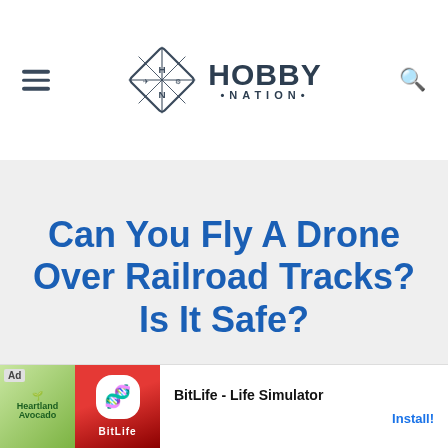[Figure (logo): Hobby Nation logo with diamond icon containing H and N letters and drone/vehicle imagery, and HOBBY NATION text]
Can You Fly A Drone Over Railroad Tracks? Is It Safe?
[Figure (screenshot): Advertisement banner for BitLife - Life Simulator app with green and red app icon thumbnails, Ad label, and Install button]